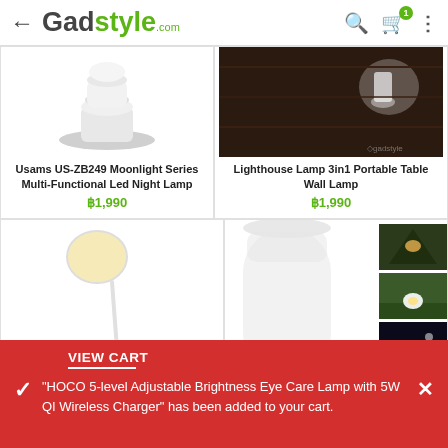← Gadstyle.com
[Figure (photo): Usams US-ZB249 Moonlight Series Multi-Functional Led Night Lamp product image - white circular LED night lamp base]
Usams US-ZB249 Moonlight Series Multi-Functional Led Night Lamp
฿1,990
[Figure (photo): Lighthouse Lamp 3in1 Portable Table Wall Lamp product image]
Lighthouse Lamp 3in1 Portable Table Wall Lamp
฿1,990
[Figure (photo): Floor lamp product image - tall slim white floor lamp with round light head]
[Figure (photo): White cylindrical portable lamp with thumbnail images on the right side]
VIEW CART
"HOCO 5-level Adjustable Brightness Eye Care Lamp with 5W QI Wireless Charger" has been added to your cart.